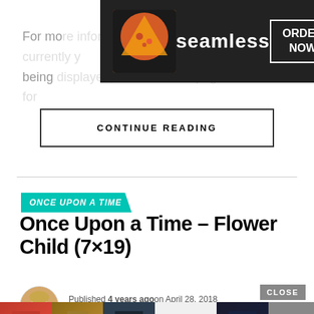[Figure (photo): Seamless food delivery advertisement banner with pizza image and ORDER NOW button]
For more information on why something is being displayed, please visit our homepage.
CONTINUE READING
ONCE UPON A TIME
Once Upon a Time – Flower Child (7×19)
Published 4 years agoon April 28, 2018
By Lizzy Buczak
[Figure (photo): ULTA Beauty advertisement banner with makeup product images and SHOP NOW button]
[Figure (infographic): Social media bar with Facebook, Twitter, and Instagram icons]